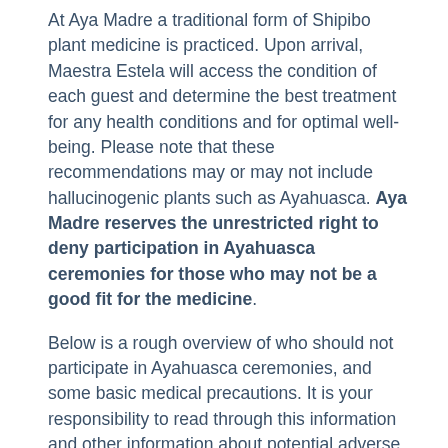At Aya Madre a traditional form of Shipibo plant medicine is practiced. Upon arrival, Maestra Estela will access the condition of each guest and determine the best treatment for any health conditions and for optimal well-being. Please note that these recommendations may or may not include hallucinogenic plants such as Ayahuasca. Aya Madre reserves the unrestricted right to deny participation in Ayahuasca ceremonies for those who may not be a good fit for the medicine.
Below is a rough overview of who should not participate in Ayahuasca ceremonies, and some basic medical precautions. It is your responsibility to read through this information and other information about potential adverse effects of